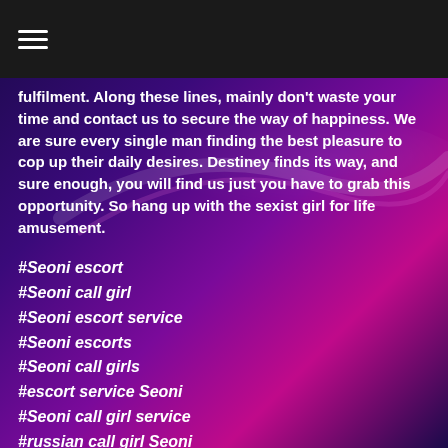☰ (hamburger menu icon)
fulfilment. Along these lines, mainly don't waste your time and contact us to secure the way of happiness. We are sure every single man finding the best pleasure to cop up their daily desires. Destiney finds its way, and sure enough, you will find us just you have to grab this opportunity. So hang up with the sexist girl for life amusement.
#Seoni escort
#Seoni call girl
#Seoni escort service
#Seoni escorts
#Seoni call girls
#escort service Seoni
#Seoni call girl service
#russian call girl Seoni
#call girls in Seoni
#Independent Escorts in Seoni
#Independent Call Girl in Seoni
Feel the Heat of Sexual Pleasure of Seoni Escorts. Seek through our presentation to find your fantasy young woman (or young women). Each